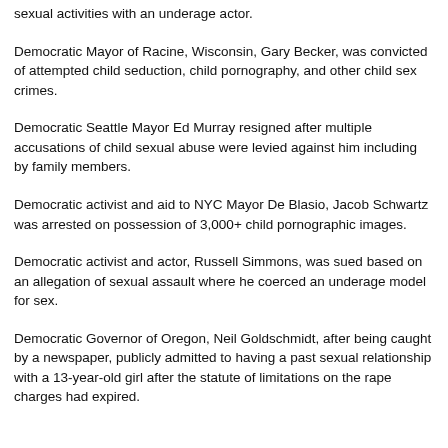sexual activities with an underage actor.
Democratic Mayor of Racine, Wisconsin, Gary Becker, was convicted of attempted child seduction, child pornography, and other child sex crimes.
Democratic Seattle Mayor Ed Murray resigned after multiple accusations of child sexual abuse were levied against him including by family members.
Democratic activist and aid to NYC Mayor De Blasio, Jacob Schwartz was arrested on possession of 3,000+ child pornographic images.
Democratic activist and actor, Russell Simmons, was sued based on an allegation of sexual assault where he coerced an underage model for sex.
Democratic Governor of Oregon, Neil Goldschmidt, after being caught by a newspaper, publicly admitted to having a past sexual relationship with a 13-year-old girl after the statute of limitations on the rape charges had expired.